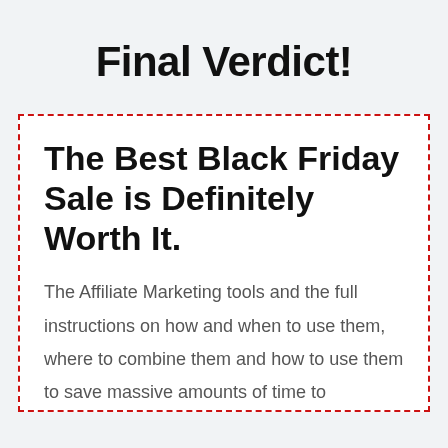Final Verdict!
The Best Black Friday Sale is Definitely Worth It.
The Affiliate Marketing tools and the full instructions on how and when to use them, where to combine them and how to use them to save massive amounts of time to